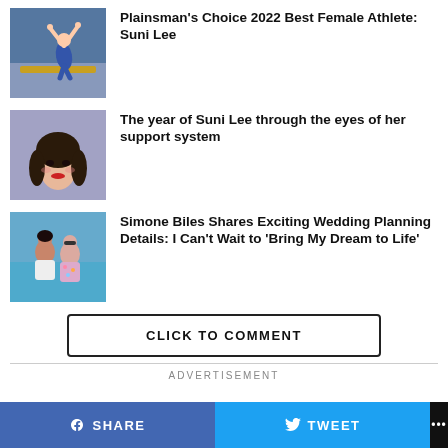[Figure (photo): Gymnast performing on balance beam, wearing blue outfit, arms raised]
Plainsman's Choice 2022 Best Female Athlete: Suni Lee
[Figure (photo): Portrait of young Asian woman with makeup, red lips, hair pulled back]
The year of Suni Lee through the eyes of her support system
[Figure (photo): Two people posing together outdoors, casual summer clothing]
Simone Biles Shares Exciting Wedding Planning Details: I Can’t Wait to ‘Bring My Dream to Life’
CLICK TO COMMENT
ADVERTISEMENT
SHARE   TWEET   ...